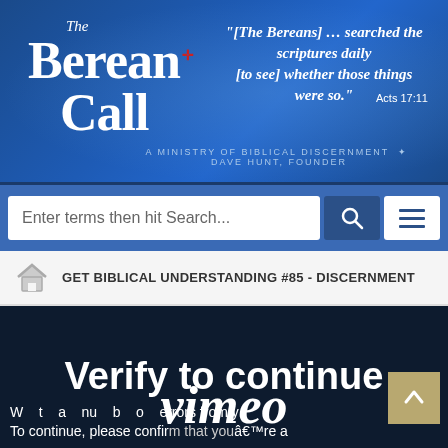[Figure (screenshot): The Berean Call website header banner with logo, tagline quoting Acts 17:11 about Bereans searching the scriptures daily, and subtitle 'A Ministry of Biblical Discernment - Dave Hunt, Founder' on blue background]
Enter terms then hit Search...
GET BIBLICAL UNDERSTANDING #85 - DISCERNMENT
[Figure (screenshot): Vimeo verify to continue page overlay on dark navy background showing 'Verify to continue' heading and vimeo logo with partial text 'We detected a number of errors from y... To continue, please confirm that you're a...']